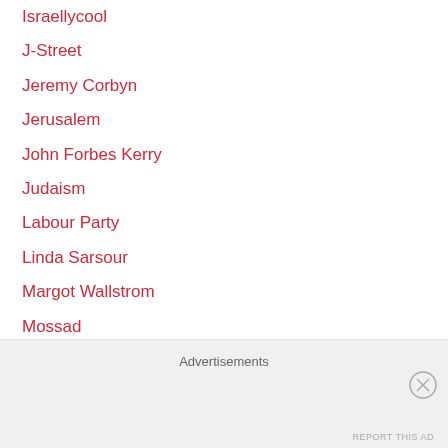Israellycool
J-Street
Jeremy Corbyn
Jerusalem
John Forbes Kerry
Judaism
Labour Party
Linda Sarsour
Margot Wallstrom
Mossad
MSNBC
Nefesh B' Nefesh
Obituaries & Transitions
Only in Israel
Advertisements